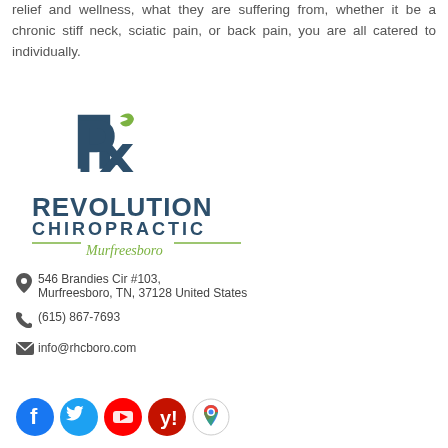relief and wellness, what they are suffering from, whether it be a chronic stiff neck, sciatic pain, or back pain, you are all catered to individually.
[Figure (logo): Revolution Chiropractic Murfreesboro logo with reversed R symbol and green leaf accent]
546 Brandies Cir #103, Murfreesboro, TN, 37128 United States
(615) 867-7693
info@rhcboro.com
[Figure (infographic): Social media icons: Facebook, Twitter, YouTube, Yelp, Google Maps]